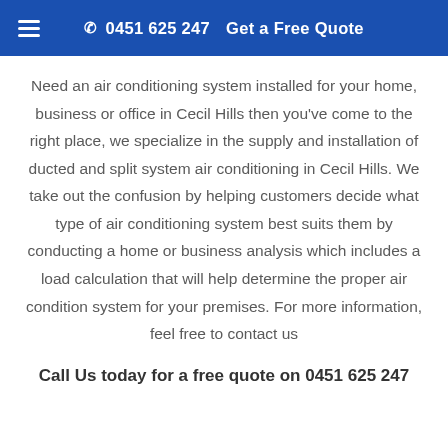☰  📞 0451 625 247   Get a Free Quote
Need an air conditioning system installed for your home, business or office in Cecil Hills then you've come to the right place, we specialize in the supply and installation of ducted and split system air conditioning in Cecil Hills. We take out the confusion by helping customers decide what type of air conditioning system best suits them by conducting a home or business analysis which includes a load calculation that will help determine the proper air condition system for your premises. For more information, feel free to contact us
Call Us today for a free quote on 0451 625 247